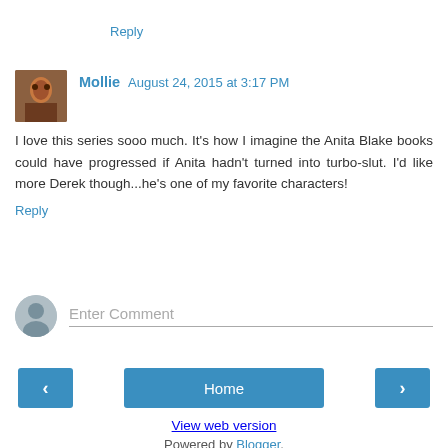Reply
Mollie  August 24, 2015 at 3:17 PM
I love this series sooo much. It's how I imagine the Anita Blake books could have progressed if Anita hadn't turned into turbo-slut. I'd like more Derek though...he's one of my favorite characters!
Reply
Enter Comment
Home
View web version
Powered by Blogger.